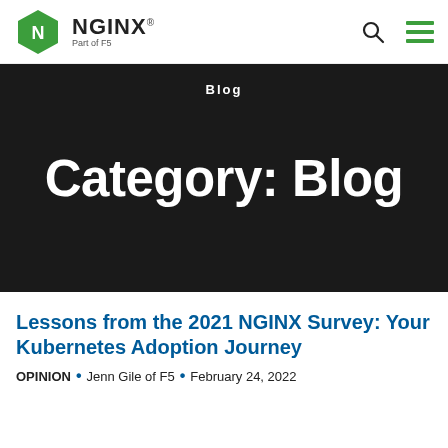NGINX — Part of F5
Blog
Category: Blog
Lessons from the 2021 NGINX Survey: Your Kubernetes Adoption Journey
OPINION • Jenn Gile of F5 • February 24, 2022